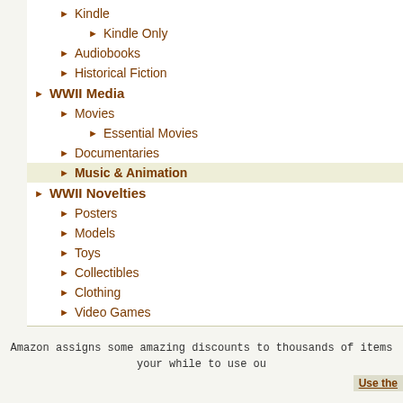Kindle
Kindle Only
Audiobooks
Historical Fiction
WWII Media
Movies
Essential Movies
Documentaries
Music & Animation
WWII Novelties
Posters
Models
Toys
Collectibles
Clothing
Video Games
Amazon assigns some amazing discounts to thousands of items your while to use ou
Use the